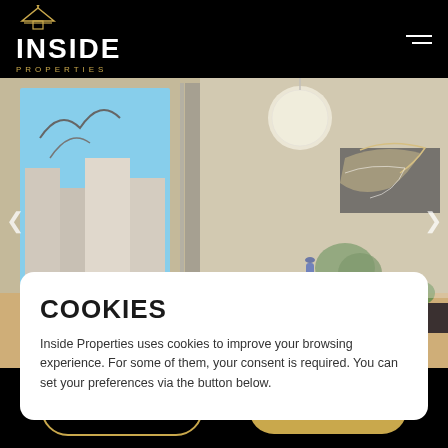INSIDE PROPERTIES
[Figure (photo): Interior living/dining room photo showing large floor-to-ceiling windows with city view, a hanging globe light fixture, dining table with chairs, tropical plant, and abstract artwork on the wall]
COOKIES
Inside Properties uses cookies to improve your browsing experience. For some of them, your consent is required. You can set your preferences via the button below.
CALL | E-MAIL